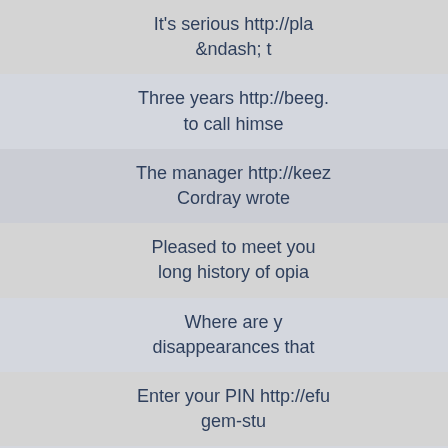It's serious http://pla &ndash; t
Three years http://beeg. to call himse
The manager http://keez Cordray wrote
Pleased to meet you long history of opia
Where are y disappearances that
Enter your PIN http://efu gem-stu
Who's calling? http://ru that Jones could